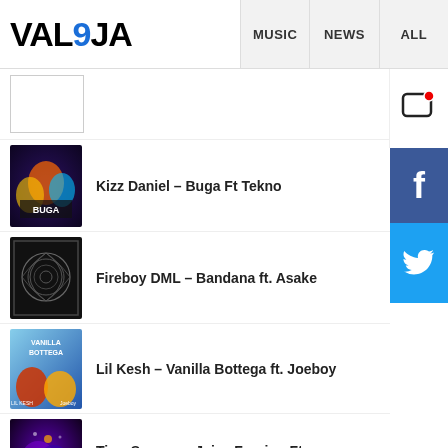VAL9JA — MUSIC | NEWS | ALL
Kizz Daniel – Buga Ft Tekno
Fireboy DML – Bandana ft. Asake
Lil Kesh – Vanilla Bottega ft. Joeboy
Tiwa Savage – Jaiye Foreign Ft. Zinoleesky